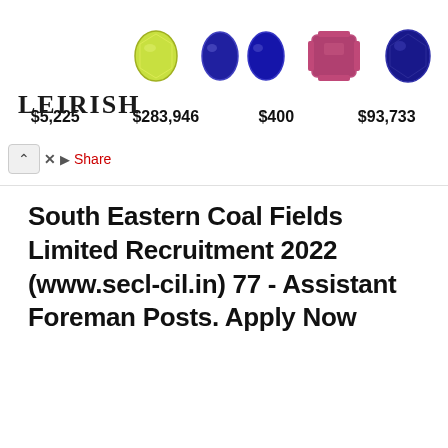[Figure (other): Advertisement banner showing gemstones (yellow cushion cut, pair of blue ovals, pink emerald cut, blue oval) with brand name LEIRISH and prices $5,225 / $283,946 / $400 / $93,733]
South Eastern Coal Fields Limited Recruitment 2022 (www.secl-cil.in) 77 - Assistant Foreman Posts. Apply Now